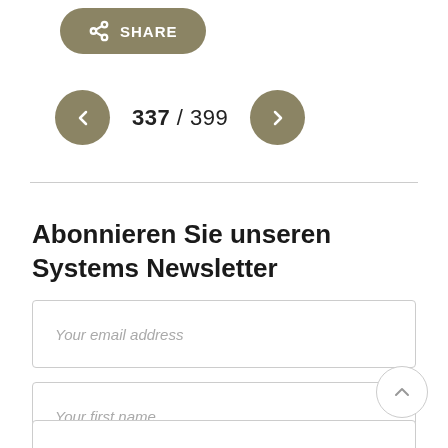[Figure (other): Share button with share icon and SHARE label in olive/khaki rounded pill button]
337 / 399
Abonnieren Sie unseren Systems Newsletter
Your email address
Your first name